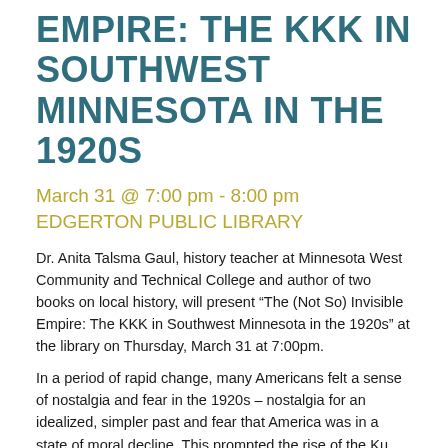EMPIRE: THE KKK IN SOUTHWEST MINNESOTA IN THE 1920S
March 31 @ 7:00 pm - 8:00 pm
EDGERTON PUBLIC LIBRARY
Dr. Anita Talsma Gaul, history teacher at Minnesota West Community and Technical College and author of two books on local history, will present “The (Not So) Invisible Empire: The KKK in Southwest Minnesota in the 1920s” at the library on Thursday, March 31 at 7:00pm.
In a period of rapid change, many Americans felt a sense of nostalgia and fear in the 1920s – nostalgia for an idealized, simpler past and fear that America was in a state of moral decline. This prompted the rise of the Ku Klux Klan, particularly in the Upper Midwest. This “new” Klan (as opposed to the original, post-Civil War Klan) expanded its list of threats to